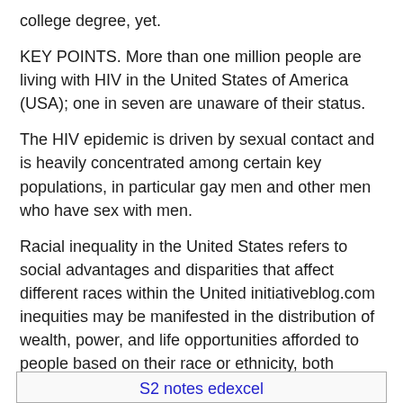college degree, yet.
KEY POINTS. More than one million people are living with HIV in the United States of America (USA); one in seven are unaware of their status.
The HIV epidemic is driven by sexual contact and is heavily concentrated among certain key populations, in particular gay men and other men who have sex with men.
Racial inequality in the United States refers to social advantages and disparities that affect different races within the United initiativeblog.com inequities may be manifested in the distribution of wealth, power, and life opportunities afforded to people based on their race or ethnicity, both historic and modern.
S2 notes edexcel